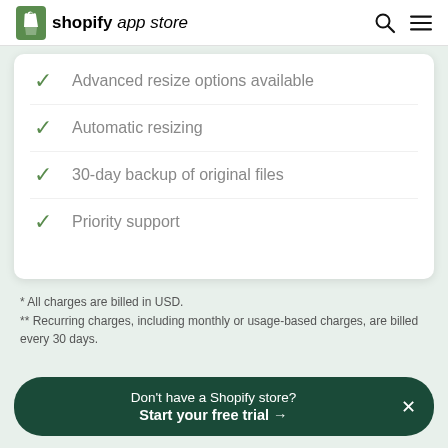shopify app store
Advanced resize options available
Automatic resizing
30-day backup of original files
Priority support
* All charges are billed in USD.
** Recurring charges, including monthly or usage-based charges, are billed every 30 days.
Don't have a Shopify store? Start your free trial →